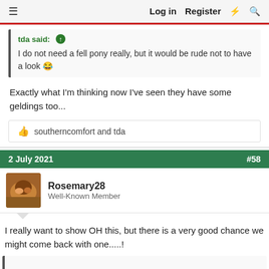Log in  Register  ⚡  🔍
tda said: ↑
I do not need a fell pony really, but it would be rude not to have a look 😂
Exactly what I'm thinking now I've seen they have some geldings too...
👍 southerncomfort and tda
2 July 2021  #58
Rosemary28
Well-Known Member
I really want to show OH this, but there is a very good chance we might come back with one.....!